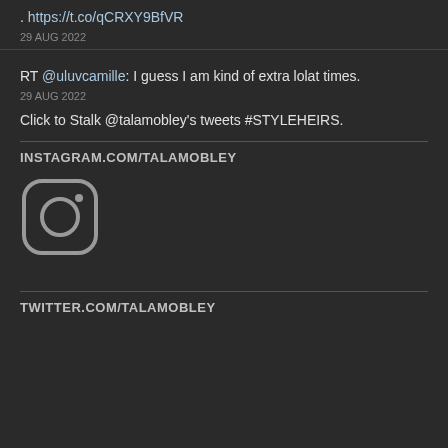. https://t.co/qCRXY9BfVR
29 AUG 2022
RT @uluvcamille: I guess I am kind of extra lolat times.
29 AUG 2022
Click to Stalk @talamobley's tweets #STYLEHEIRS.
INSTAGRAM.COM/TALAMOBLEY
[Figure (logo): Instagram logo icon - rounded square with camera outline]
TWITTER.COM/TALAMOBLEY